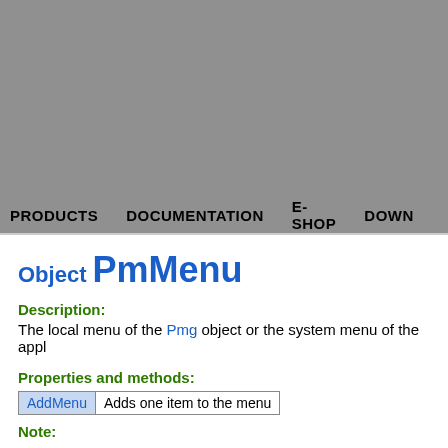PRODUCTS   DOCUMENTATION   E-SHOP   DOWN
Object PmMenu
Description:
The local menu of the Pmg object or the system menu of the appl
Properties and methods:
| Method | Description |
| --- | --- |
| AddMenu | Adds one item to the menu |
Note: